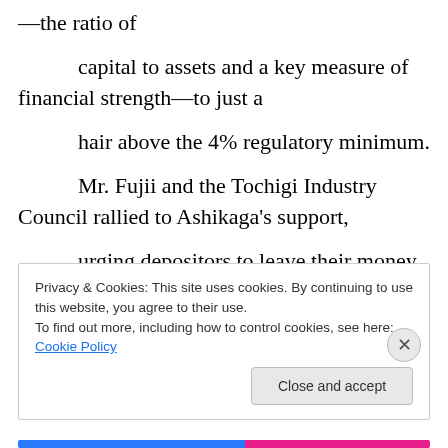—the ratio of
capital to assets and a key measure of financial strength—to just a
hair above the 4% regulatory minimum.
Mr. Fujii and the Tochigi Industry Council rallied to Ashikaga's support,
urging depositors to leave their money in the bank and heed the bank's
Privacy & Cookies: This site uses cookies. By continuing to use this website, you agree to their use.
To find out more, including how to control cookies, see here: Cookie Policy